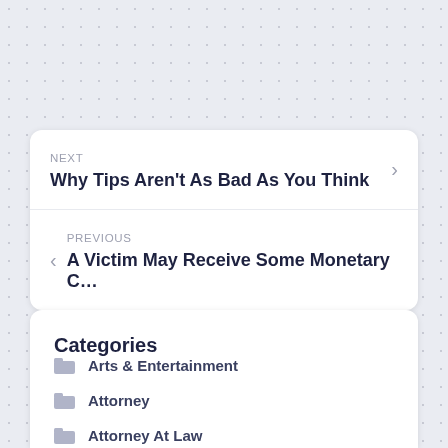NEXT
Why Tips Aren't As Bad As You Think
PREVIOUS
A Victim May Receive Some Monetary C…
Categories
Arts & Entertainment
Attorney
Attorney At Law
Auto & Motor